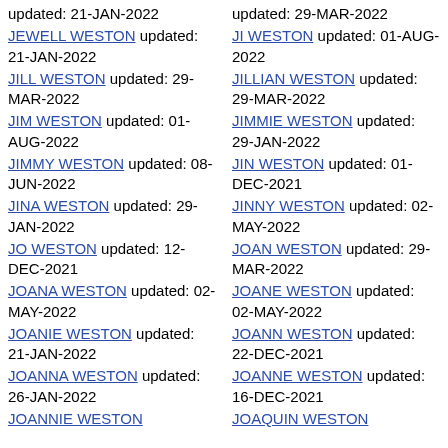updated: 21-JAN-2022
updated: 29-MAR-2022
JEWELL WESTON updated: 21-JAN-2022
JI WESTON updated: 01-AUG-2022
JILL WESTON updated: 29-MAR-2022
JILLIAN WESTON updated: 29-MAR-2022
JIM WESTON updated: 01-AUG-2022
JIMMIE WESTON updated: 29-JAN-2022
JIMMY WESTON updated: 08-JUN-2022
JIN WESTON updated: 01-DEC-2021
JINA WESTON updated: 29-JAN-2022
JINNY WESTON updated: 02-MAY-2022
JO WESTON updated: 12-DEC-2021
JOAN WESTON updated: 29-MAR-2022
JOANA WESTON updated: 02-MAY-2022
JOANE WESTON updated: 02-MAY-2022
JOANIE WESTON updated: 21-JAN-2022
JOANN WESTON updated: 22-DEC-2021
JOANNA WESTON updated: 26-JAN-2022
JOANNE WESTON updated: 16-DEC-2021
JOANNIE WESTON
JOAQUIN WESTON